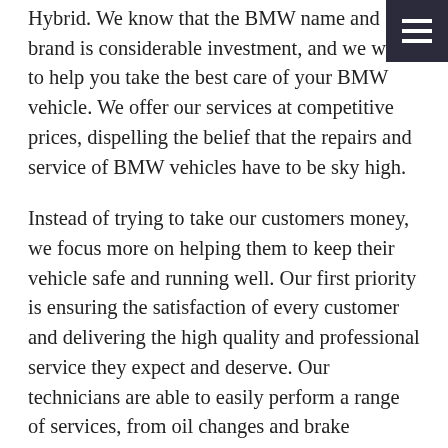Hybrid. We know that the BMW name and brand is considerable investment, and we want to help you take the best care of your BMW vehicle. We offer our services at competitive prices, dispelling the belief that the repairs and service of BMW vehicles have to be sky high.
Instead of trying to take our customers money, we focus more on helping them to keep their vehicle safe and running well. Our first priority is ensuring the satisfaction of every customer and delivering the high quality and professional service they expect and deserve. Our technicians are able to easily perform a range of services, from oil changes and brake adjustments to replacing timing belts and spark plugs.